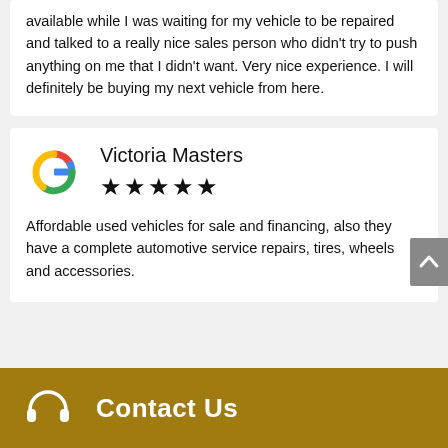available while I was waiting for my vehicle to be repaired and talked to a really nice sales person who didn't try to push anything on me that I didn't want. Very nice experience. I will definitely be buying my next vehicle from here.
Victoria Masters
★★★★★
Affordable used vehicles for sale and financing, also they have a complete automotive service repairs, tires, wheels and accessories.
Contact Us